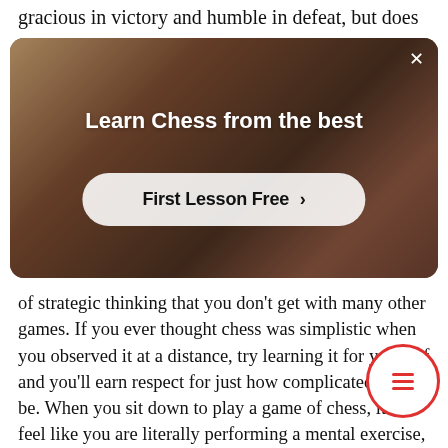gracious in victory and humble in defeat, but does
[Figure (screenshot): Advertisement banner with warm-toned photo background showing a person with arms raised. White text reads 'Learn Chess from the best' with a button 'First Lesson Free >' and an X close button in the top right corner.]
of strategic thinking that you don’t get with many other games. If you ever thought chess was simplistic when you observed it at a distance, try learning it for yourself and you’ll earn respect for just how complicated it can be. When you sit down to play a game of chess, it can feel like you are literally performing a mental exercise, as your brain works overtime to think through all the possible moves and potential plays. There’s so much in a single game of chess, that the only way to make the right move is to think things through thoroughly. This teaches children to be patient and to wait for the